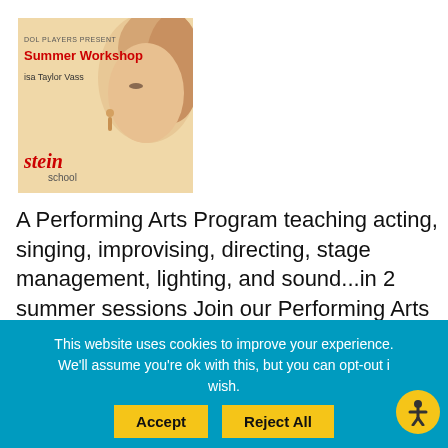[Figure (illustration): Poster image for Summer Workshop featuring a woman's face on a warm beige background, text reads 'DOL PLAYERS PRESENT Summer Workshop Lisa Taylor Vass' with a stylized 'stein school' logo]
A Performing Arts Program teaching acting, singing, improvising, directing, stage management, lighting, and sound...in 2 summer sessions Join our Performing Arts Director, Lisa Taylor Vass for a Performing Arts Summer Workshop this summer.
This website uses cookies to improve your experience. We'll assume you're ok with this, but you can opt-out if you wish.